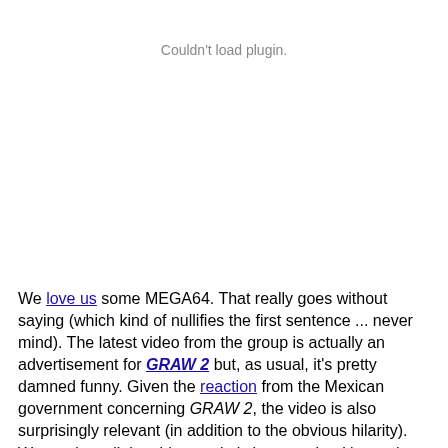Couldn't load plugin.
We love us some MEGA64. That really goes without saying (which kind of nullifies the first sentence ... never mind). The latest video from the group is actually an advertisement for GRAW 2 but, as usual, it's pretty damned funny. Given the reaction from the Mexican government concerning GRAW 2, the video is also surprisingly relevant (in addition to the obvious hilarity). We won't spoil the video, so let's just say that it's worth watching. Click play, give it a watch, and tell us what you think.
[Via Joystiq]
Read
Permalink